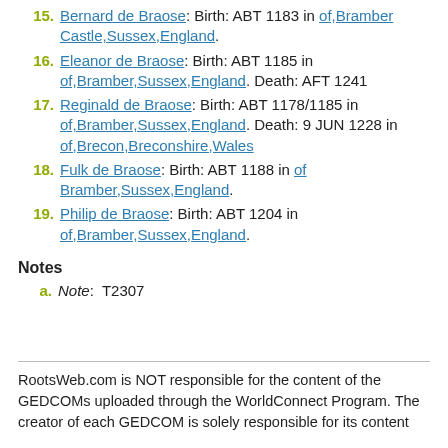15. Bernard de Braose: Birth: ABT 1183 in of,Bramber Castle,Sussex,England.
16. Eleanor de Braose: Birth: ABT 1185 in of,Bramber,Sussex,England. Death: AFT 1241
17. Reginald de Braose: Birth: ABT 1178/1185 in of,Bramber,Sussex,England. Death: 9 JUN 1228 in of,Brecon,Breconshire,Wales
18. Fulk de Braose: Birth: ABT 1188 in of Bramber,Sussex,England.
19. Philip de Braose: Birth: ABT 1204 in of,Bramber,Sussex,England.
Notes
a. Note: T2307
RootsWeb.com is NOT responsible for the content of the GEDCOMs uploaded through the WorldConnect Program. The creator of each GEDCOM is solely responsible for its content